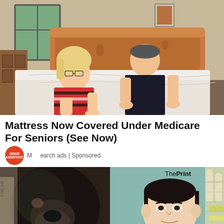[Figure (photo): Two older adults (a woman with blonde hair and glasses in a striped top, and a man in a dark polo shirt) leaning over a white mattress on a bed with a wooden headboard, in a bedroom setting.]
Mattress Now Covered Under Medicare For Seniors (See Now)
Ma    earch ads | Sponsored
[Figure (illustration): Illustrated/collage image showing two faces: a dark dog face on the left and an illustrated man's face on the right, with ThePrint logo in the top right corner and a hand illustration. Appears to be a news article thumbnail from ThePrint.]